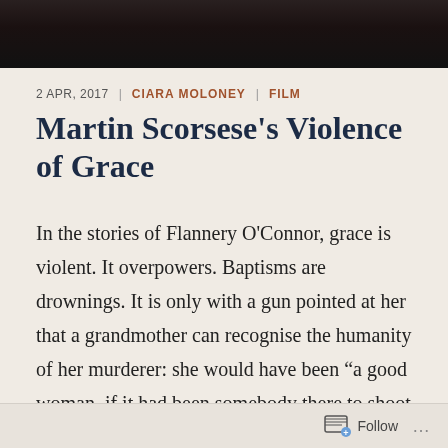[Figure (photo): Dark photograph strip at the top of the page, showing a dimly lit scene]
2 APR, 2017  |  CIARA MOLONEY  |  FILM
Martin Scorsese's Violence of Grace
In the stories of Flannery O'Connor, grace is violent. It overpowers. Baptisms are drownings. It is only with a gun pointed at her that a grandmother can recognise the humanity of her murderer: she would have been “a good woman, if it had been somebody there to shoot her every minute of her life.”
Follow  …